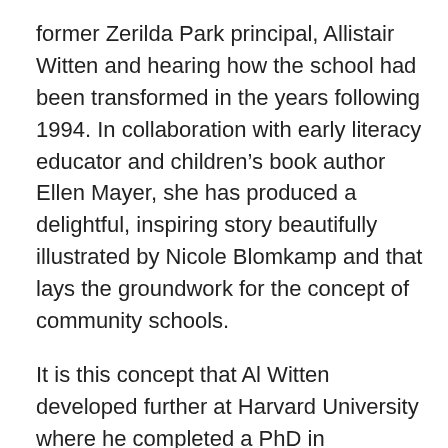former Zerilda Park principal, Allistair Witten and hearing how the school had been transformed in the years following 1994. In collaboration with early literacy educator and children's book author Ellen Mayer, she has produced a delightful, inspiring story beautifully illustrated by Nicole Blomkamp and that lays the groundwork for the concept of community schools.
It is this concept that Al Witten developed further at Harvard University where he completed a PhD in education before returning to South Africa. Now based at the Nelson Mandela University in the Eastern Cape city of Port Elizabeth, he is engaged in developing the idea of schools as a hub for community collaboration along a “corridor” extending outward from the university. This is based on his earlier experiences in Lavender Hill.